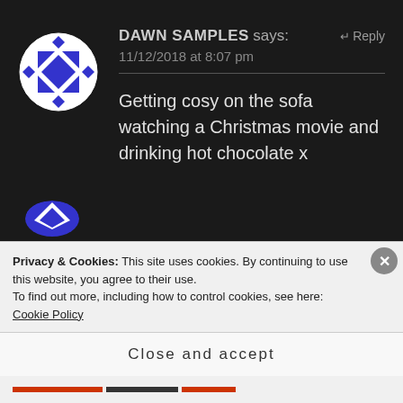[Figure (illustration): Circular avatar image with blue and white geometric diamond/quilt pattern on dark background]
DAWN SAMPLES says:
↵ Reply
11/12/2018 at 8:07 pm
Getting cosy on the sofa watching a Christmas movie and drinking hot chocolate x
Privacy & Cookies: This site uses cookies. By continuing to use this website, you agree to their use.
To find out more, including how to control cookies, see here: Cookie Policy
Close and accept